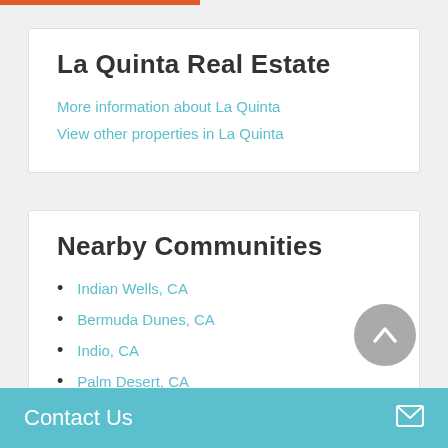La Quinta Real Estate
More information about La Quinta
View other properties in La Quinta
Nearby Communities
Indian Wells, CA
Bermuda Dunes, CA
Indio, CA
Palm Desert, CA
Coachella, CA
Contact Us